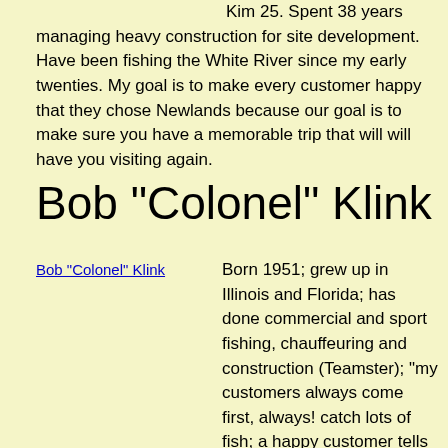Kim 25. Spent 38 years managing heavy construction for site development. Have been fishing the White River since my early twenties. My goal is to make every customer happy that they chose Newlands because our goal is to make sure you have a memorable trip that will will have you visiting again.
Bob "Colonel" Klink
[Figure (photo): Photo of Bob "Colonel" Klink shown as a linked image placeholder]
Born 1951; grew up in Illinois and Florida; has done commercial and sport fishing, chauffeuring and construction (Teamster); "my customers always come first, always! catch lots of fish; a happy customer tells their friends--an unhappy one tells everyone".